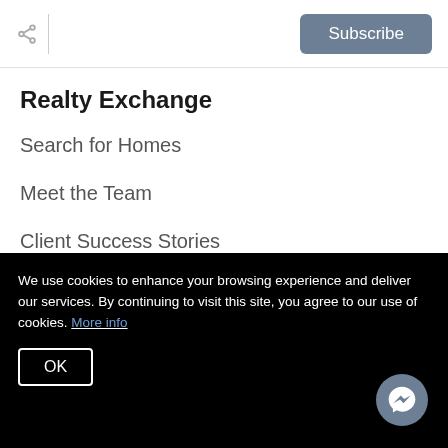Share | Subscribe
Realty Exchange
Search for Homes
Meet the Team
Client Success Stories
Get Your Home's Value
Read Our Blog
The Buyer Experience
We use cookies to enhance your browsing experience and deliver our services. By continuing to visit this site, you agree to our use of cookies. More info
OK